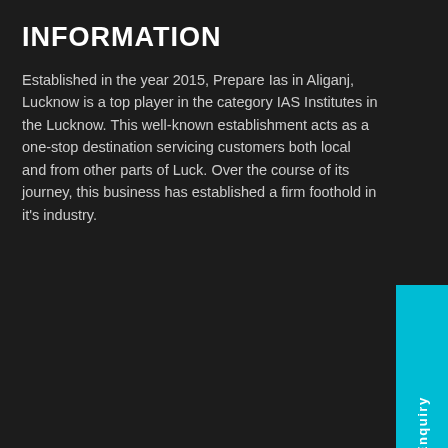INFORMATION
Established in the year 2015, Prepare Ias in Aliganj, Lucknow is a top player in the category IAS Institutes in the Lucknow. This well-known establishment acts as a one-stop destination servicing customers both local and from other parts of Luck. Over the course of its journey, this business has established a firm foothold in it's industry.
USEFUL LINKS
About Us
Online Courses
Faculty
Gallery
Video